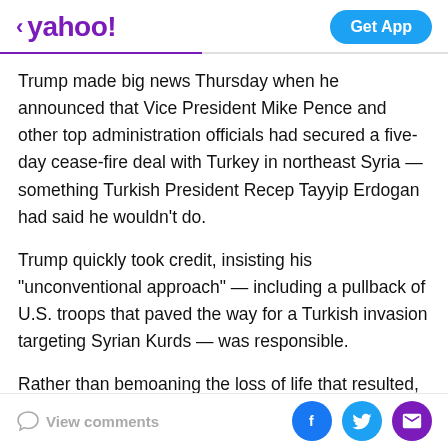< yahoo!  Get App
Trump made big news Thursday when he announced that Vice President Mike Pence and other top administration officials had secured a five-day cease-fire deal with Turkey in northeast Syria — something Turkish President Recep Tayyip Erdogan had said he wouldn't do.
Trump quickly took credit, insisting his "unconventional approach" — including a pullback of U.S. troops that paved the way for a Turkish invasion targeting Syrian Kurds — was responsible.
Rather than bemoaning the loss of life that resulted, Trump spent much of Thursday minimizing the carnage and hailing the deal in epic proportions.
View comments